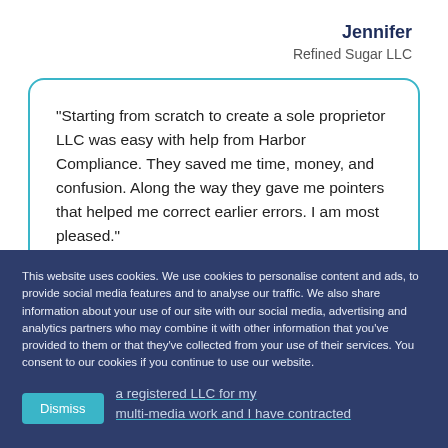Jennifer
Refined Sugar LLC
"Starting from scratch to create a sole proprietor LLC was easy with help from Harbor Compliance. They saved me time, money, and confusion. Along the way they gave me pointers that helped me correct earlier errors. I am most pleased."
This website uses cookies. We use cookies to personalise content and ads, to provide social media features and to analyse our traffic. We also share information about your use of our site with our social media, advertising and analytics partners who may combine it with other information that you've provided to them or that they've collected from your use of their services. You consent to our cookies if you continue to use our website.
Dismiss
a registered LLC for my multi-media work and I have contracted